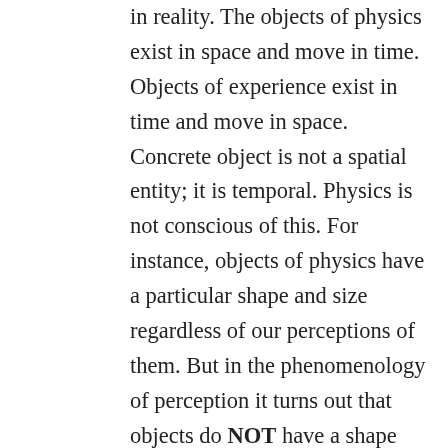in reality. The objects of physics exist in space and move in time. Objects of experience exist in time and move in space. Concrete object is not a spatial entity; it is temporal. Physics is not conscious of this. For instance, objects of physics have a particular shape and size regardless of our perceptions of them. But in the phenomenology of perception it turns out that objects do NOT have a shape and size at all. Shape and size, like space and time, are a priori forms of sensible intuition, and in this case perception. That objects have independent existence is something that belongs to human subjectivity. It is for us humans that universe is objective and exists on its own; objectivity can only arise from within subjectivity. The universe too is a product of science, while science itself being only a mode of human discourse soaked in historical